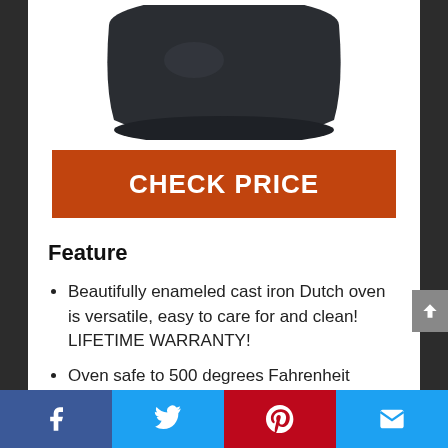[Figure (photo): Partial view of a dark gray/black enameled cast iron Dutch oven, showing the bottom rounded portion of the pot against a white background]
CHECK PRICE
Feature
Beautifully enameled cast iron Dutch oven is versatile, easy to care for and clean! LIFETIME WARRANTY!
Oven safe to 500 degrees Fahrenheit